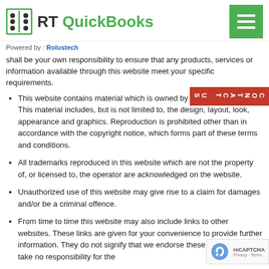[Figure (logo): RT QuickBooks logo with abacus icon and hamburger menu button]
Powered by : Rolustech
shall be your own responsibility to ensure that any products, services or information available through this website meet your specific requirements.
This website contains material which is owned by or licensed to us. This material includes, but is not limited to, the design, layout, look, appearance and graphics. Reproduction is prohibited other than in accordance with the copyright notice, which forms part of these terms and conditions.
All trademarks reproduced in this website which are not the property of, or licensed to, the operator are acknowledged on the website.
Unauthorized use of this website may give rise to a claim for damages and/or be a criminal offence.
From time to time this website may also include links to other websites. These links are given for your convenience to provide further information. They do not signify that we endorse these website(s). We take no responsibility for the